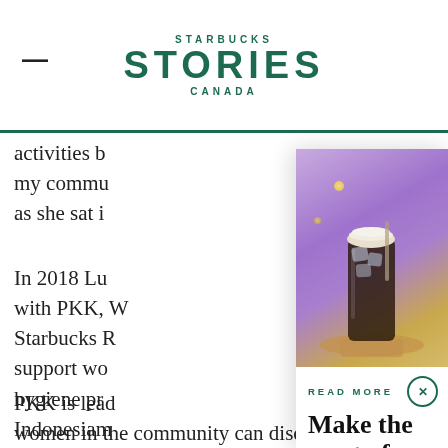STARBUCKS STORIES CANADA
activities b... my commu... as she sat i...
In 2018 Lu... with PKK, W... Starbucks R... support wo... hygiene pr... Indonesian...
[Figure (photo): Iced coffee drink (Chocolate Cream Cold Brew) on a purple/sunset background]
READ MORE
Make the most of every summer moment with Starbucks new Chocolate Cream Cold Brew
PKK is lead... women in the community can discuss various topics about health and family. The group is...